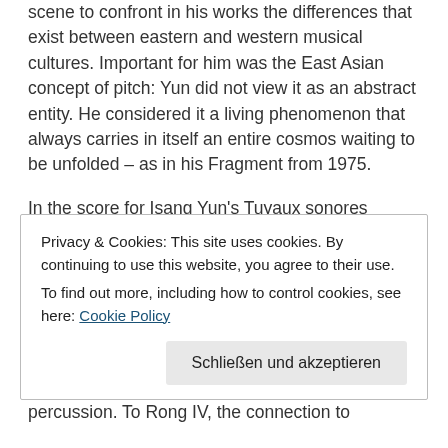scene to confront in his works the differences that exist between eastern and western musical cultures. Important for him was the East Asian concept of pitch: Yun did not view it as an abstract entity. He considered it a living phenomenon that always carries in itself an entire cosmos waiting to be unfolded – as in his Fragment from 1975.
In the score for Isang Yun's Tuyaux sonores [Tubular Sonorities] from 1967, one does not find notes, but tubular round and rectangular symbols of differing lengths. Music notated graphically is a creation of the western
Privacy & Cookies: This site uses cookies. By continuing to use this website, you agree to their use.
To find out more, including how to control cookies, see here: Cookie Policy
Schließen und akzeptieren
percussion. To Rong IV, the connection to